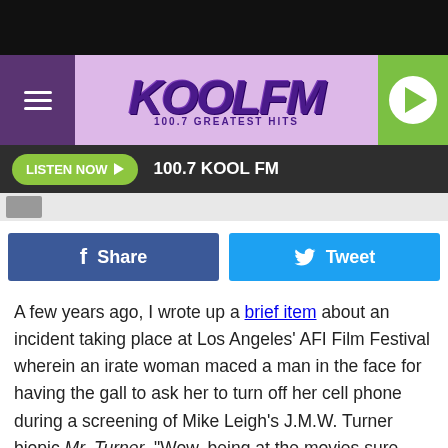[Figure (logo): KOOL FM 100.7 Greatest Hits radio station header logo with purple and green colors]
LISTEN NOW ▶   100.7 KOOL FM
[Figure (other): Facebook Share button and Twitter Tweet button]
A few years ago, I wrote up a brief item about an incident taking place at Los Angeles' AFI Film Festival wherein an irate woman maced a man in the face for having the gall to ask her to turn off her cell phone during a screening of Mike Leigh's J.M.W. Turner biopic Mr. Turner. "Wow, being at the movies sure makes people do crazy things!" I thought to myself. "I wonder how long it'll be until the next time I get to write about a violent movie theater conflict over petty